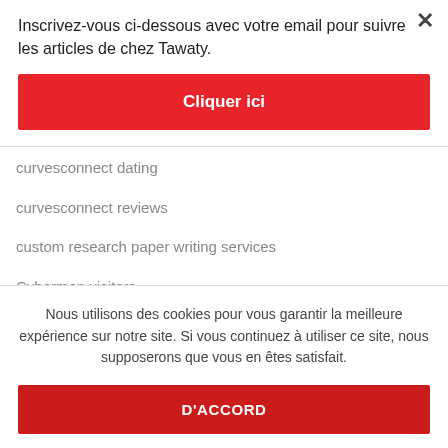Inscrivez-vous ci-dessous avec votre email pour suivre les articles de chez Tawaty.
Cliquer ici
curvesconnect dating
curvesconnect reviews
custom research paper writing services
Cybermen visitors
Nous utilisons des cookies pour vous garantir la meilleure expérience sur notre site. Si vous continuez à utiliser ce site, nous supposerons que vous en êtes satisfait.
D'ACCORD
Dabble visitors